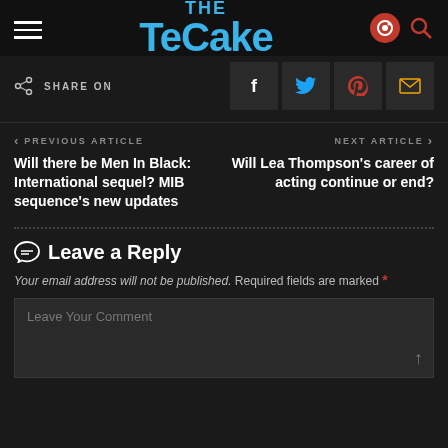The TeCake
SHARE ON
< PREVIOUS ARTICLE
Will there be Men In Black: International sequel? MIB sequence's new updates
NEXT ARTICLE >
Will Lea Thompson's career of acting continue or end?
Leave a Reply
Your email address will not be published. Required fields are marked *
Leave Your Comment